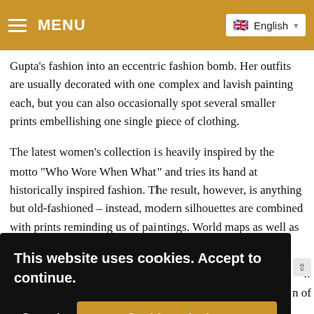MENU | English
Gupta's fashion into an eccentric fashion bomb. Her outfits are usually decorated with one complex and lavish painting each, but you can also occasionally spot several smaller prints embellishing one single piece of clothing.
The latest women’s collection is heavily inspired by the motto “Who Wore When What” and tries its hand at historically inspired fashion. The result, however, is anything but old-fashioned – instead, modern silhouettes are combined with prints reminding us of paintings. World maps as well as other nostalgic prints decorate the pieces. The result? Beautifully
[Figure (screenshot): Cookie consent overlay with black background. Text reads: 'This website uses cookies. Accept to continue.' Two buttons: 'Cancel' (white text on black) and 'Cookies erlauben' (white text on gold/amber button).]
n of
love towards individuality. Have I piqued your curiosity?